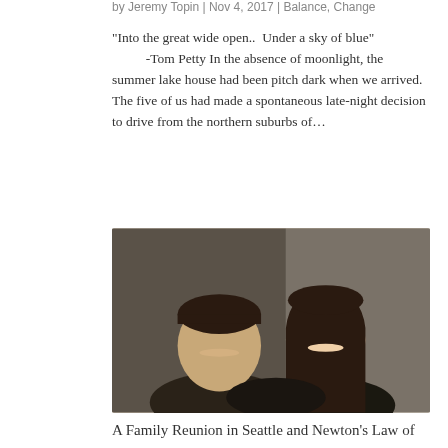by Jeremy Topin | Nov 4, 2017 | Balance, Change
“Into the great wide open..  Under a sky of blue” -Tom Petty In the absence of moonlight, the summer lake house had been pitch dark when we arrived. The five of us had made a spontaneous late-night decision to drive from the northern suburbs of...
[Figure (photo): A photo of two people smiling together, a young man on the left and a young woman on the right, posed close together indoors.]
A Family Reunion in Seattle and Newton’s Law of